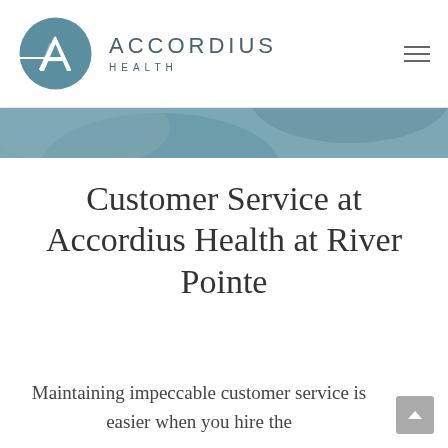ACCORDIUS HEALTH
[Figure (photo): Hero banner image showing a blurred teal/blue-grey medical or abstract background]
Customer Service at Accordius Health at River Pointe
Maintaining impeccable customer service is easier when you hire the